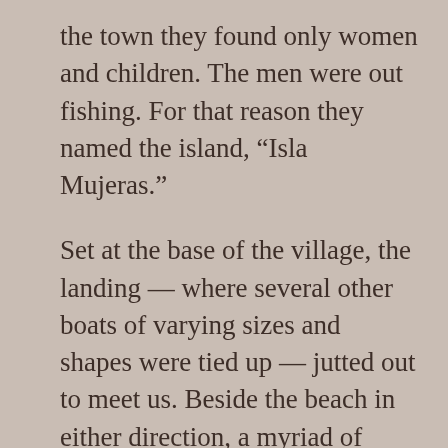the town they found only women and children. The men were out fishing. For that reason they named the island, “Isla Mujeras.”
Set at the base of the village, the landing — where several other boats of varying sizes and shapes were tied up — jutted out to meet us. Beside the beach in either direction, a myriad of small boats bobbed in the turquoise water beside palapa style buildings planted in the white sand. A flock of taxi drivers